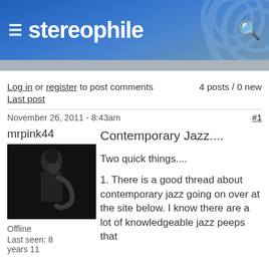stereophile
Log in or register to post comments   4 posts / 0 new
Last post
November 26, 2011 - 8:43am   #1
mrpink44
[Figure (photo): Black and white photo of a jazz musician playing saxophone]
Offline
Last seen: 8 years 11
Contemporary Jazz....

Two quick things....

1. There is a good thread about contemporary jazz going on over at the site below. I know there are a lot of knowledgeable jazz peeps that